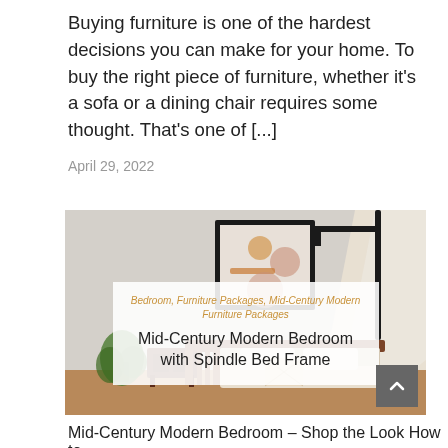Buying furniture is one of the hardest decisions you can make for your home. To buy the right piece of furniture, whether it's a sofa or a dining chair requires some thought. That's one of [...]
April 29, 2022
[Figure (photo): Mid-century modern bedroom interior with spindle bed frame, side table, plant, abstract wall art, and floor lamp. Overlay card shows categories 'Bedroom, Furniture Packages, Mid-Century Modern Furniture Packages' and title 'Mid-Century Modern Bedroom with Spindle Bed Frame'.]
Mid-Century Modern Bedroom – Shop the Look How to